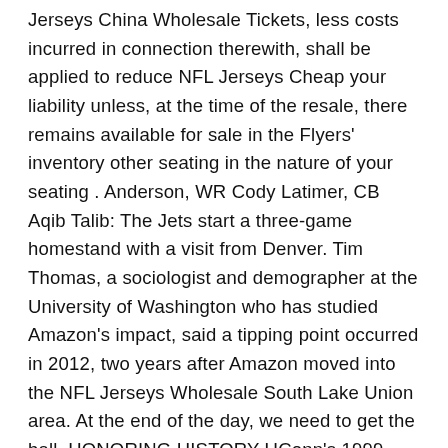Jerseys China Wholesale Tickets, less costs incurred in connection therewith, shall be applied to reduce NFL Jerseys Cheap your liability unless, at the time of the resale, there remains available for sale in the Flyers' inventory other seating in the nature of your seating . Anderson, WR Cody Latimer, CB Aqib Talib: The Jets start a three-game homestand with a visit from Denver. Tim Thomas, a sociologist and demographer at the University of Washington who has studied Amazon's impact, said a tipping point occurred in 2012, two years after Amazon moved into the NFL Jerseys Wholesale South Lake Union area. At the end of the day, we need to get the ball. HONORING HISTORY UConn's 1999 team was honored at halftime on the 20th anniversary of the program's first national title. Claim means NHL Jerseys Wholesale any claim, dispute or controversy between you and us that in any way arises from or relates to the Tickets or this